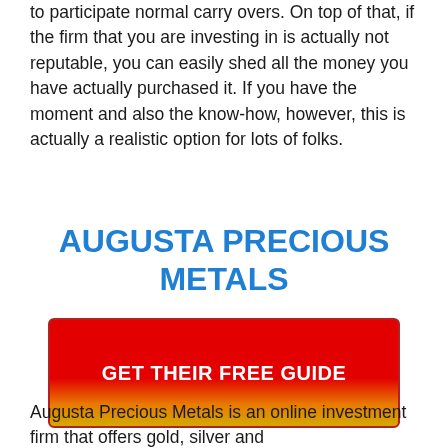to participate normal carry overs. On top of that, if the firm that you are investing in is actually not reputable, you can easily shed all the money you have actually purchased it. If you have the moment and also the know-how, however, this is actually a realistic option for lots of folks.
AUGUSTA PRECIOUS METALS
[Figure (other): Red and yellow gradient button with white bold text reading GET THEIR FREE GUIDE]
Augusta Precious Metals is an online investment firm that offers gold, silver and